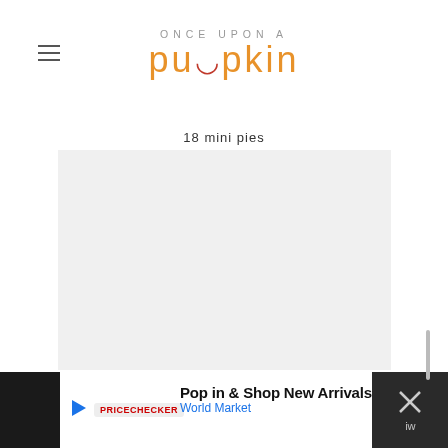ONCE UPON A pumpkin
18 mini pies
[Figure (photo): Light gray placeholder image area for mini pies recipe photo]
Pop in & Shop New Arrivals World Market